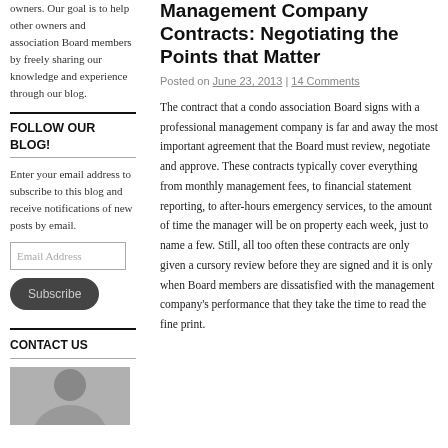owners. Our goal is to help other owners and association Board members by freely sharing our knowledge and experience through our blog.
FOLLOW OUR BLOG!
Enter your email address to subscribe to this blog and receive notifications of new posts by email.
Email Address
Subscribe
CONTACT US
[Figure (photo): Greyscale photo of a person]
Management Company Contracts: Negotiating the Points that Matter
Posted on June 23, 2013 | 14 Comments
The contract that a condo association Board signs with a professional management company is far and away the most important agreement that the Board must review, negotiate and approve. These contracts typically cover everything from monthly management fees, to financial statement reporting, to after-hours emergency services, to the amount of time the manager will be on property each week, just to name a few. Still, all too often these contracts are only given a cursory review before they are signed and it is only when Board members are dissatisfied with the management company's performance that they take the time to read the fine print.